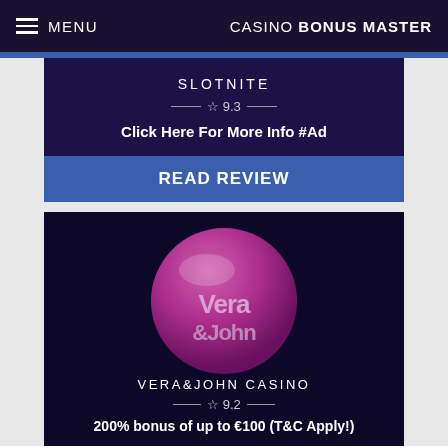MENU  CASINO BONUS MASTER
SLOTNITE
☆ 9.3
Click Here For More Info #Ad
READ REVIEW
[Figure (logo): Vera&John casino logo: pink/magenta glossy sphere with 'Vera &John' text in light pink]
VERA&JOHN CASINO
☆ 9.2
200% bonus of up to €100 (T&C Apply!)